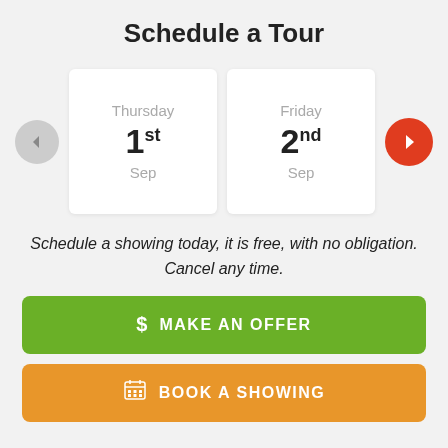Schedule a Tour
[Figure (other): Date picker with two calendar cards showing Thursday 1st Sep and Friday 2nd Sep, with left (grey) and right (red) navigation arrows]
Schedule a showing today, it is free, with no obligation. Cancel any time.
[Figure (other): Green button with dollar sign icon and text MAKE AN OFFER]
[Figure (other): Orange button with calendar icon and text BOOK A SHOWING]